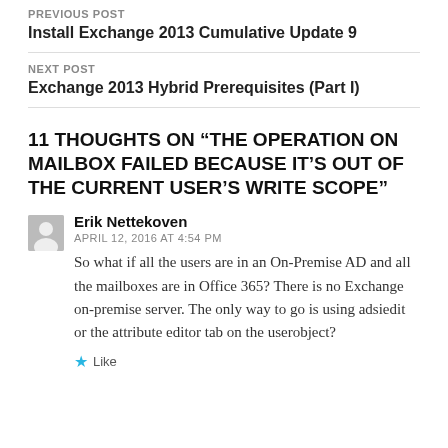PREVIOUS POST
Install Exchange 2013 Cumulative Update 9
NEXT POST
Exchange 2013 Hybrid Prerequisites (Part I)
11 THOUGHTS ON “THE OPERATION ON MAILBOX FAILED BECAUSE IT’S OUT OF THE CURRENT USER’S WRITE SCOPE”
Erik Nettekoven
APRIL 12, 2016 AT 4:54 PM
So what if all the users are in an On-Premise AD and all the mailboxes are in Office 365? There is no Exchange on-premise server. The only way to go is using adsiedit or the attribute editor tab on the userobject?
Like